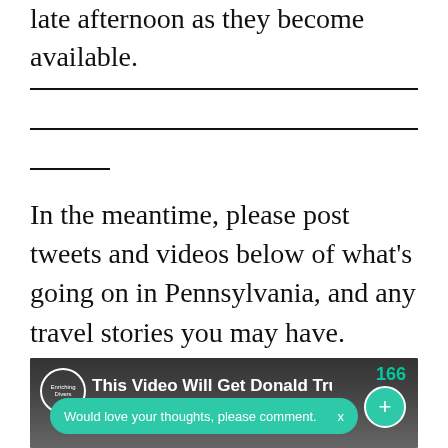late afternoon as they become available.
In the meantime, please post tweets and videos below of what's going on in Pennsylvania, and any travel stories you may have.
[Figure (screenshot): A video thumbnail showing a political figure at a rally. An overlay toast notification reads 'Would love your thoughts, please comment.' with an X button and a + button. A circle with 'Enriching Diversity' is visible top left. The number 166 appears top right in teal.]